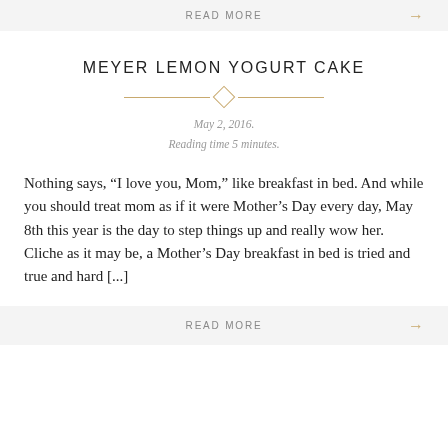READ MORE →
MEYER LEMON YOGURT CAKE
May 2, 2016.
Reading time 5 minutes.
Nothing says, “I love you, Mom,” like breakfast in bed. And while you should treat mom as if it were Mother’s Day every day, May 8th this year is the day to step things up and really wow her. Cliche as it may be, a Mother’s Day breakfast in bed is tried and true and hard [...]
READ MORE →